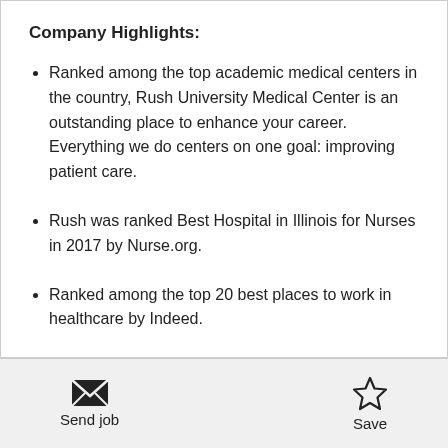Company Highlights:
Ranked among the top academic medical centers in the country, Rush University Medical Center is an outstanding place to enhance your career. Everything we do centers on one goal: improving patient care.
Rush was ranked Best Hospital in Illinois for Nurses in 2017 by Nurse.org.
Ranked among the top 20 best places to work in healthcare by Indeed.
Send job   Save